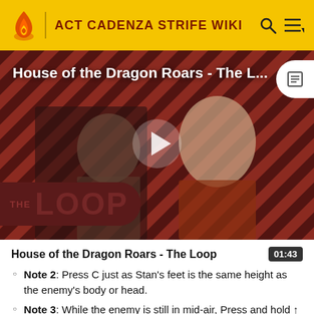ACT CADENZA STRIFE WIKI
[Figure (screenshot): Video thumbnail for 'House of the Dragon Roars - The Loop' showing two characters from House of the Dragon on a diagonal stripe background with a play button in the center and THE LOOP badge at the bottom left]
House of the Dragon Roars - The Loop
Note 2: Press C just as Stan's feet is the same height as the enemy's body or head.
Note 3: While the enemy is still in mid-air, Press and hold ↑ and as Stan jumps forward press A